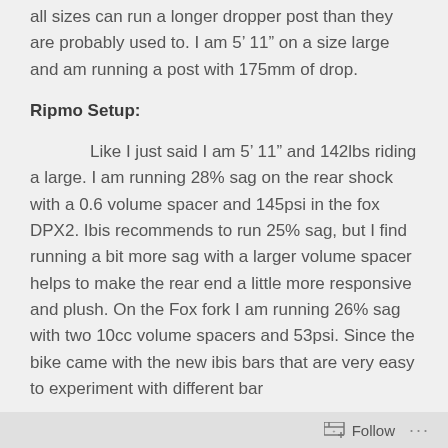The Ripmo also has a very short seat tube so people on all sizes can run a longer dropper post than they are probably used to. I am 5’ 11″ on a size large and am running a post with 175mm of drop.
Ripmo Setup:
Like I just said I am 5’ 11″ and 142lbs riding a large. I am running 28% sag on the rear shock with a 0.6 volume spacer and 145psi in the fox DPX2. Ibis recommends to run 25% sag, but I find running a bit more sag with a larger volume spacer helps to make the rear end a little more responsive and plush. On the Fox fork I am running 26% sag with two 10cc volume spacers and 53psi. Since the bike came with the new ibis bars that are very easy to experiment with different bar
Follow ...